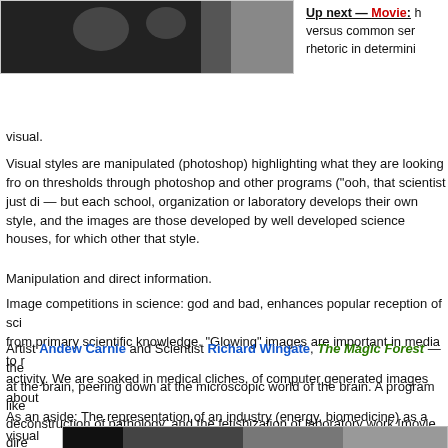[Figure (photo): Dark photograph showing blurry circular light shapes on a dark background]
Up next — Movie: [text cut off] versus common sen[se cut off] rhetoric in determini[ng cut off]
visual.
Visual styles are manipulated (photoshop) highlighting what they are looking fro[m cut off] on thresholds through photoshop and other programs ("ooh, that scientist just di[d cut off] — but each school, organization or laboratory develops their own style, and the[cut off] images are those developed by well developed science houses, for which other[cut off] that style.
Manipulation and direct information.
Image competitions in science: god and bad, enhances popular reception of scie[nce cut off] from primary scientific knowledge. "Glowing" images are important in media to r[cut off] activity. We are soaked in medical cliches, of computer generated images about[cut off]
Artist Andew Carnie and Scientist Richard Wingate, The Magic Forest — the[cut off] at the brain, peering down at the microscopic world of the brain. A program like [cut off] deconstruction of pathology, and the fetishization of laboratory work [movie dire[ct cut off] on biomedical imaging].
As an aside: The representation of an industry (energy, biomedicine) as a visual[cut off] almost cultural form.
[Figure (photo): Dark photograph at bottom of page showing a partially visible laboratory or scientific image]